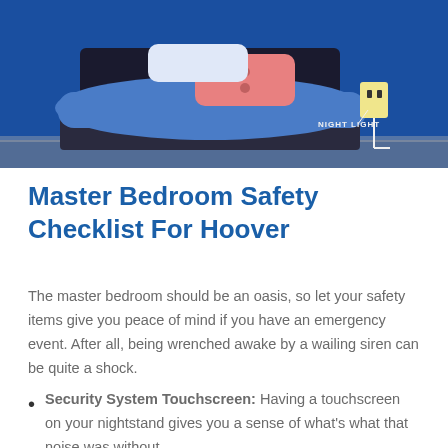[Figure (illustration): Illustration of a bedroom scene with a bed covered by a blue comforter, a salmon/pink pillow, a dark headboard, and a night light plugged into a wall outlet on the right side. The background is dark blue. A label reads 'NIGHT LIGHT' pointing to the outlet.]
Master Bedroom Safety Checklist For Hoover
The master bedroom should be an oasis, so let your safety items give you peace of mind if you have an emergency event. After all, being wrenched awake by a wailing siren can be quite a shock.
Security System Touchscreen: Having a touchscreen on your nightstand gives you a sense of what's what that noise was without having to get up. You can identify the event